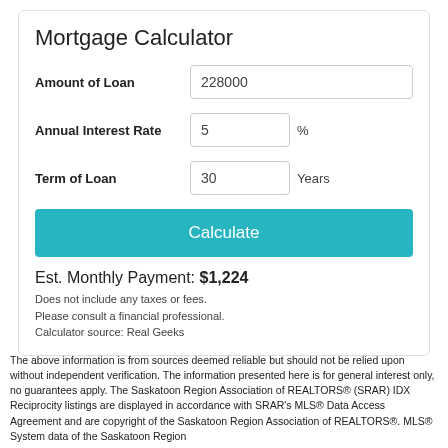Mortgage Calculator
Amount of Loan    228000
Annual Interest Rate    5 %
Term of Loan    30 Years
Calculate
Est. Monthly Payment: $1,224
Does not include any taxes or fees.
Please consult a financial professional.
Calculator source: Real Geeks
The above information is from sources deemed reliable but should not be relied upon without independent verification. The information presented here is for general interest only, no guarantees apply. The Saskatoon Region Association of REALTORS® (SRAR) IDX Reciprocity listings are displayed in accordance with SRAR's MLS® Data Access Agreement and are copyright of the Saskatoon Region Association of REALTORS®. MLS® System data of the Saskatoon Region